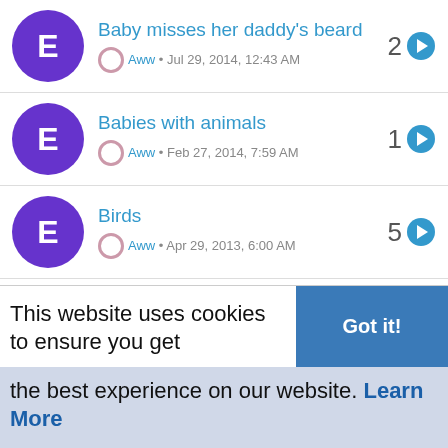Baby misses her daddy's beard • Aww • Jul 29, 2014, 12:43 AM • 2
Babies with animals • Aww • Feb 27, 2014, 7:59 AM • 1
Birds • Aww • Apr 29, 2013, 6:00 AM • 5
Baby animals • Aww • May 17, 2013, 4:54 PM • 29
Cats • Aww • Apr 29, 2013, 6:04 AM • 17
This website uses cookies to ensure you get the best experience on our website. Learn More